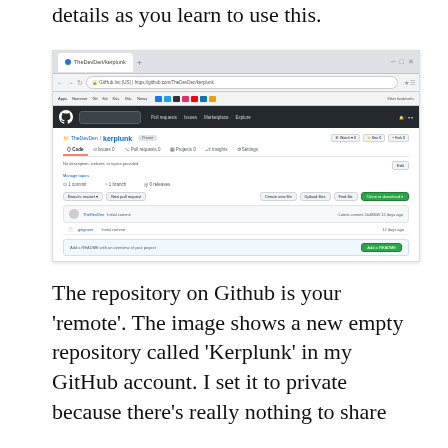details as you learn to use this.
[Figure (screenshot): Screenshot of a GitHub repository page showing a new empty repository called 'Kerplunk' (TheDevDen/kerplunk) in a web browser. The repository shows Code, Issues, Pull requests, Projects, Insights, and Settings tabs. It shows 1 commit, 1 branch, 0 releases. There are buttons for Branch master, New pull request, Create new file, Upload files, Find file, and Clone or download. A file called .gitignore shows initial commit 12 days ago. There is a banner prompting to Add a README with an Add a README button. The page footer shows GitHub copyright links.]
The repository on Github is your ‘remote’. The image shows a new empty repository called ‘Kerplunk’ in my GitHub account. I set it to private because there’s really nothing to share